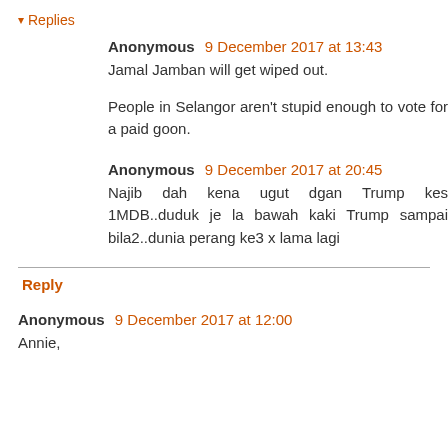▾ Replies
Anonymous 9 December 2017 at 13:43
Jamal Jamban will get wiped out.

People in Selangor aren't stupid enough to vote for a paid goon.
Anonymous 9 December 2017 at 20:45
Najib dah kena ugut dgan Trump kes 1MDB..duduk je la bawah kaki Trump sampai bila2..dunia perang ke3 x lama lagi
Reply
Anonymous 9 December 2017 at 12:00
Annie,